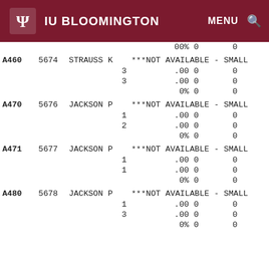IU BLOOMINGTON | MENU | Search
| Code | Num | Instructor | Status | Col5 | Col6 |
| --- | --- | --- | --- | --- | --- |
|  |  |  | 00% | 0 | 0 |
| A460 | 5674 | STRAUSS K | ***NOT AVAILABLE - SMALL |  |  |
|  |  | 3 | .00 | 0 | 0 |
|  |  | 3 | .00 | 0 | 0 |
|  |  |  | 0% | 0 | 0 |
| A470 | 5676 | JACKSON P | ***NOT AVAILABLE - SMALL |  |  |
|  |  | 1 | .00 | 0 | 0 |
|  |  | 2 | .00 | 0 | 0 |
|  |  |  | 0% | 0 | 0 |
| A471 | 5677 | JACKSON P | ***NOT AVAILABLE - SMALL |  |  |
|  |  | 1 | .00 | 0 | 0 |
|  |  | 1 | .00 | 0 | 0 |
|  |  |  | 0% | 0 | 0 |
| A480 | 5678 | JACKSON P | ***NOT AVAILABLE - SMALL |  |  |
|  |  | 1 | .00 | 0 | 0 |
|  |  | 3 | .00 | 0 | 0 |
|  |  |  | 0% | 0 | 0 |